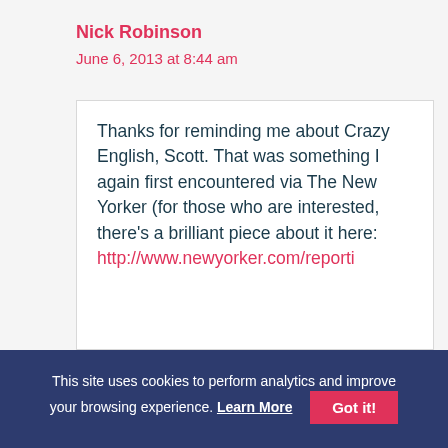Nick Robinson
June 6, 2013 at 8:44 am
Thanks for reminding me about Crazy English, Scott. That was something I again first encountered via The New Yorker (for those who are interested, there's a brilliant piece about it here: http://www.newyorker.com/reporti
This site uses cookies to perform analytics and improve your browsing experience. Learn More  Got it!